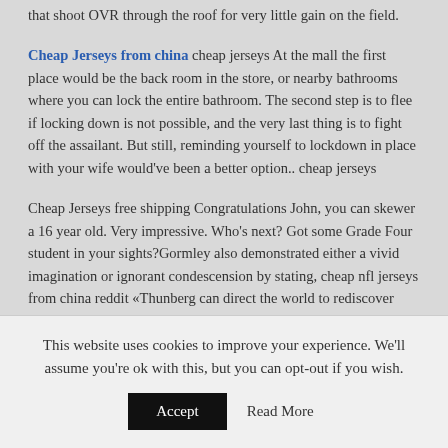that shoot OVR through the roof for very little gain on the field.
Cheap Jerseys from china cheap jerseys At the mall the first place would be the back room in the store, or nearby bathrooms where you can lock the entire bathroom. The second step is to flee if locking down is not possible, and the very last thing is to fight off the assailant. But still, reminding yourself to lockdown in place with your wife would've been a better option.. cheap jerseys
Cheap Jerseys free shipping Congratulations John, you can skewer a 16 year old. Very impressive. Who's next? Got some Grade Four student in your sights?Gormley also demonstrated either a vivid imagination or ignorant condescension by stating, cheap nfl jerseys from china reddit «Thunberg can direct the world to rediscover Marxism.» Really? A 16 year old can direct the world?. Cheap Jerseys free shipping
[faded/partially visible text]
This website uses cookies to improve your experience. We'll assume you're ok with this, but you can opt-out if you wish.